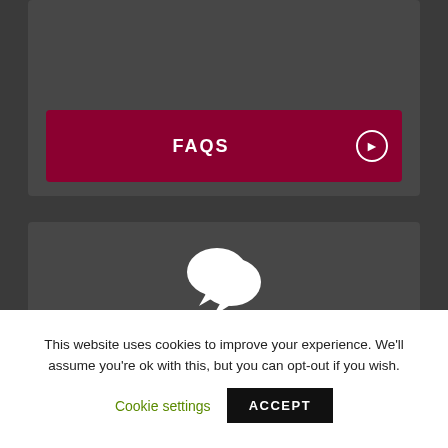[Figure (screenshot): Dark grey background with two card panels. Top card shows partially visible FAQ button (dark red with FAQS text and arrow). Bottom card shows speech bubble chat icon and a dark red GET IN TOUCH button with arrow.]
FAQS
[Figure (illustration): White speech bubble chat icon (two overlapping speech bubbles)]
GET IN TOUCH
This website uses cookies to improve your experience. We'll assume you're ok with this, but you can opt-out if you wish.
Cookie settings
ACCEPT